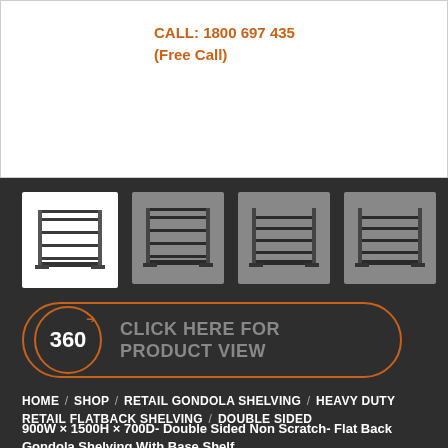[Figure (photo): Top section showing product image area with white background]
CALL: 1800 697 435
(Free Call)
[Figure (photo): Four thumbnail images of double-sided gondola shelving units, first one on white background (selected), others on grey]
[Figure (infographic): 360 degree product view button with circular arrow icon and text 'CLICK HERE FOR PRODUCT VIEW']
HOME / SHOP / RETAIL GONDOLA SHELVING / HEAVY DUTY RETAIL FLATBACK SHELVING / DOUBLE SIDED
900W × 1500H × 700D- Double Sided Non Scratch- Flat Back Gondola Shelving With Base Shelf